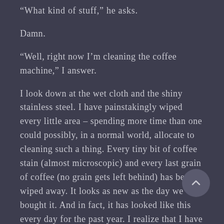“What kind of stuff,” he asks.
Damn.
“Well, right now I’m cleaning the coffee machine,” I answer.
I look down at the wet cloth and the shiny stainless steel. I have painstakingly wiped every little area – spending more time than one could possibly, in a normal world, allocate to cleaning such a thing. Every tiny bit of coffee stain (almost microscopic) and every last grain of coffee (no grain gets left behind) has been wiped away. It looks as new as the day we bought it. And in fact, it has looked like this every day for the past year. I realize that I have cleaned the coffee machine more times in one year than most people likely do in a lifetime.